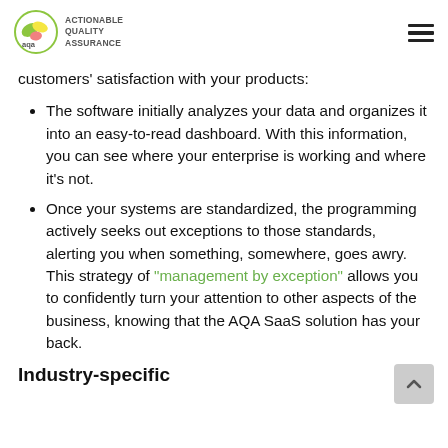ACTIONABLE QUALITY ASSURANCE
customers' satisfaction with your products:
The software initially analyzes your data and organizes it into an easy-to-read dashboard. With this information, you can see where your enterprise is working and where it's not.
Once your systems are standardized, the programming actively seeks out exceptions to those standards, alerting you when something, somewhere, goes awry. This strategy of "management by exception" allows you to confidently turn your attention to other aspects of the business, knowing that the AQA SaaS solution has your back.
Industry-specific